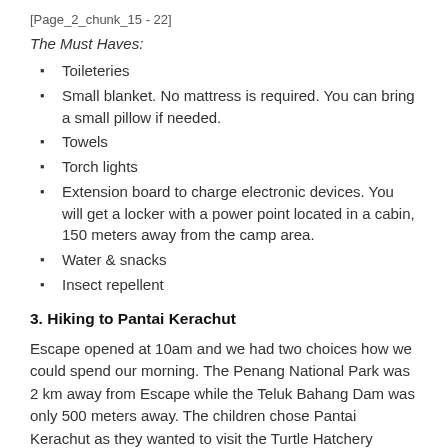[Page_2_chunk_15 - 22]
The Must Haves:
Toileteries
Small blanket. No mattress is required. You can bring a small pillow if needed.
Towels
Torch lights
Extension board to charge electronic devices. You will get a locker with a power point located in a cabin, 150 meters away from the camp area.
Water & snacks
Insect repellent
3. Hiking to Pantai Kerachut
Escape opened at 10am and we had two choices how we could spend our morning. The Penang National Park was 2 km away from Escape while the Teluk Bahang Dam was only 500 meters away. The children chose Pantai Kerachut as they wanted to visit the Turtle Hatchery